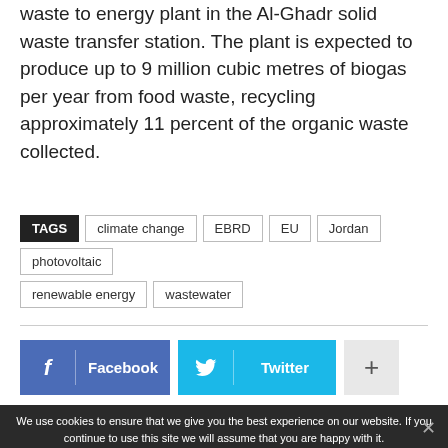waste to energy plant in the Al-Ghadr solid waste transfer station. The plant is expected to produce up to 9 million cubic metres of biogas per year from food waste, recycling approximately 11 percent of the organic waste collected.
TAGS: climate change, EBRD, EU, Jordan, photovoltaic, renewable energy, wastewater
[Figure (other): Facebook and Twitter social share buttons, plus a + button]
We use cookies to ensure that we give you the best experience on our website. If you continue to use this site we will assume that you are happy with it.
New equipment developed to measure evaporation
Banking on resilience: Arizona dealing with water scarcity